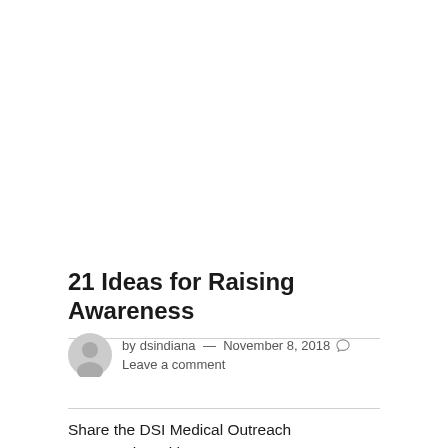21 Ideas for Raising Awareness
by dsindiana — November 8, 2018 Leave a comment
Share the DSI Medical Outreach presentation with